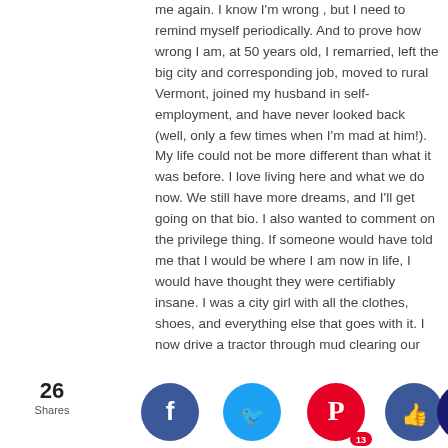me again. I know I'm wrong , but I need to remind myself periodically. And to prove how wrong I am, at 50 years old, I remarried, left the big city and corresponding job, moved to rural Vermont, joined my husband in self-employment, and have never looked back (well, only a few times when I'm mad at him!). My life could not be more different than what it was before. I love living here and what we do now. We still have more dreams, and I'll get going on that bio. I also wanted to comment on the privilege thing. If someone would have told me that I would be where I am now in life, I would have thought they were certifiably insane. I was a city girl with all the clothes, shoes, and everything else that goes with it. I now drive a tractor through mud clearing our property and sometimes a forklift at work. Who'd have thunk it! It is a tremendous privilege to be able to choose such different lifestyles at different times in our lives. I am beyond grateful for these opportunities to see life from a different perspective. And, God-willing, I will have more opportunities doing new things in the future, sort of like our new neighbor. For any young person don't reading, please know that you have to fight it all out while you're young, don't feel it wasted you
[Figure (infographic): Social share bar with 26 Shares count and 5 social media buttons: Facebook (blue circle with f), Twitter (light blue circle with bird), Pinterest (red circle with P and 13 count), Like/Thumbs up (blue circle), Crown (dark blue circle)]